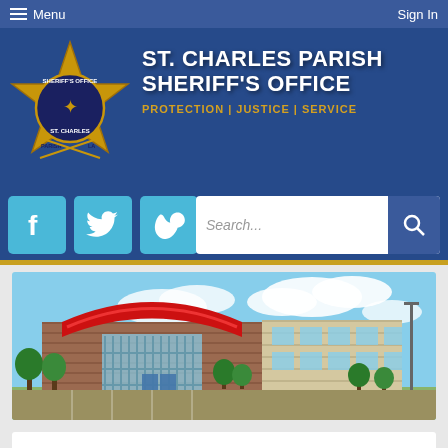Menu   Sign In
[Figure (logo): St. Charles Parish Sheriff's Office header banner with gold star badge logo, title text 'ST. CHARLES PARISH SHERIFF'S OFFICE PROTECTION | JUSTICE | SERVICE', social media icons (Facebook, Twitter, Vimeo), and search bar]
[Figure (photo): Exterior photo of St. Charles Parish Sheriff's Office building, a modern brick building with red curved roof accent, glass facade, and surrounding trees and parking area]